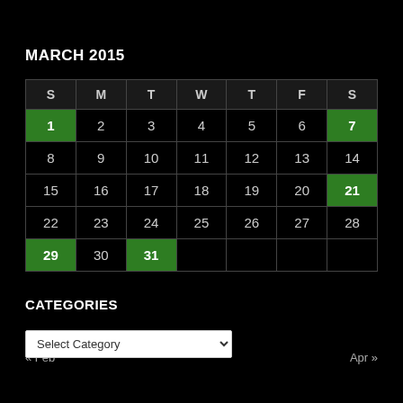MARCH 2015
| S | M | T | W | T | F | S |
| --- | --- | --- | --- | --- | --- | --- |
| 1* | 2 | 3 | 4 | 5 | 6 | 7* |
| 8 | 9 | 10 | 11 | 12 | 13 | 14 |
| 15 | 16 | 17 | 18 | 19 | 20 | 21* |
| 22 | 23 | 24 | 25 | 26 | 27 | 28 |
| 29* | 30 | 31* |  |  |  |  |
« Feb    Apr »
CATEGORIES
Select Category